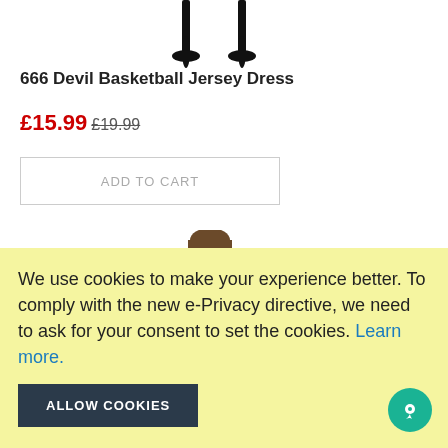[Figure (photo): Cropped product photo showing high-heel boots at top of page]
666 Devil Basketball Jersey Dress
£15.99 £19.99
ADD TO CART
[Figure (photo): Woman wearing a black basketball jersey dress with skull graphic and '01' number, styled with edgy makeup]
We use cookies to make your experience better. To comply with the new e-Privacy directive, we need to ask for your consent to set the cookies. Learn more.
ALLOW COOKIES